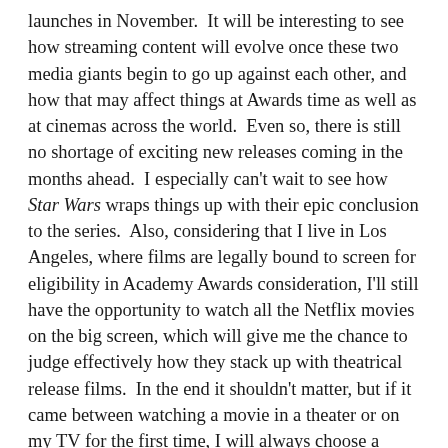launches in November.  It will be interesting to see how streaming content will evolve once these two media giants begin to go up against each other, and how that may affect things at Awards time as well as at cinemas across the world.  Even so, there is still no shortage of exciting new releases coming in the months ahead.  I especially can't wait to see how Star Wars wraps things up with their epic conclusion to the series.  Also, considering that I live in Los Angeles, where films are legally bound to screen for eligibility in Academy Awards consideration, I'll still have the opportunity to watch all the Netflix movies on the big screen, which will give me the chance to judge effectively how they stack up with theatrical release films.  In the end it shouldn't matter, but if it came between watching a movie in a theater or on my TV for the first time, I will always choose a theater first.  So, I hope that my preview has been helpful in spotlighting some noteworthy films that might interest all of you in the coming months.  Let's hope that our holidays are full of fun times at the movies, no matter which screen you choose this time.